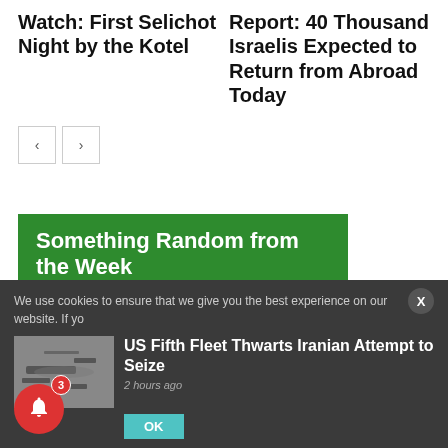Watch: First Selichot Night by the Kotel
Report: 40 Thousand Israelis Expected to Return from Abroad Today
[Figure (screenshot): Navigation previous/next buttons with left and right arrows]
Something Random from the Week
We use cookies to ensure that we give you the best experience on our website. If yo
[Figure (photo): Small thumbnail news image showing a ship or vessel]
US Fifth Fleet Thwarts Iranian Attempt to Seize
2 hours ago